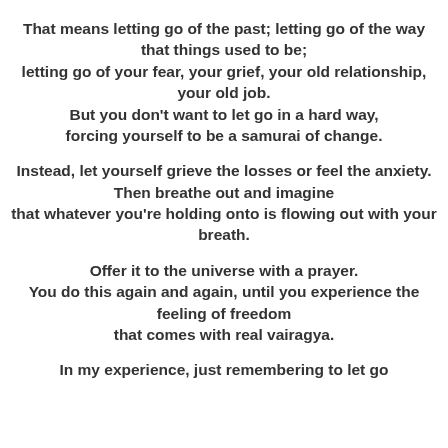That means letting go of the past; letting go of the way that things used to be; letting go of your fear, your grief, your old relationship, your old job. But you don't want to let go in a hard way, forcing yourself to be a samurai of change.
Instead, let yourself grieve the losses or feel the anxiety. Then breathe out and imagine that whatever you're holding onto is flowing out with your breath.
Offer it to the universe with a prayer. You do this again and again, until you experience the feeling of freedom that comes with real vairagya.
In my experience, just remembering to let go